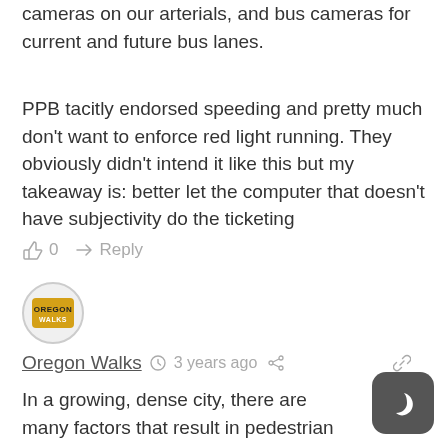cameras on our arterials, and bus cameras for current and future bus lanes.
PPB tacitly endorsed speeding and pretty much don't want to enforce red light running. They obviously didn't intend it like this but my takeaway is: better let the computer that doesn't have subjectivity do the ticketing
👍 0   ➤ Reply
[Figure (logo): Oregon Walks circular avatar logo with yellow sign and text]
Oregon Walks  🕐 3 years ago  🔗
In a growing, dense city, there are many factors that result in pedestrian injury and death — from poor lighting, unsafe speeds, roads designed for the